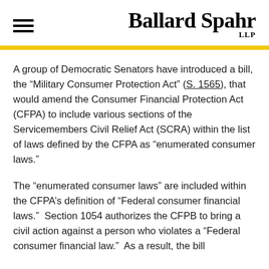Ballard Spahr LLP
A group of Democratic Senators have introduced a bill, the “Military Consumer Protection Act” (S. 1565), that would amend the Consumer Financial Protection Act (CFPA) to include various sections of the Servicemembers Civil Relief Act (SCRA) within the list of laws defined by the CFPA as “enumerated consumer laws.”
The “enumerated consumer laws” are included within the CFPA’s definition of “Federal consumer financial laws.”  Section 1054 authorizes the CFPB to bring a civil action against a person who violates a “Federal consumer financial law.”  As a result, the bill